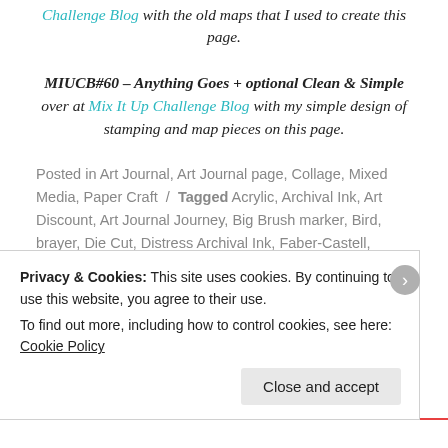Challenge Blog with the old maps that I used to create this page.
MIUCB#60 – Anything Goes + optional Clean & Simple over at Mix It Up Challenge Blog with my simple design of stamping and map pieces on this page.
Posted in Art Journal, Art Journal page, Collage, Mixed Media, Paper Craft / Tagged Acrylic, Archival Ink, Art Discount, Art Journal Journey, Big Brush marker, Bird, brayer, Die Cut, Distress Archival Ink, Faber-Castell, Kaisercraft, Love To Scrap Challenge Blog, map, Mix It Up Challenge Blog, Paperbabe Stamps, Ranger, Sizzix, Stampers
Privacy & Cookies: This site uses cookies. By continuing to use this website, you agree to their use. To find out more, including how to control cookies, see here: Cookie Policy
Close and accept